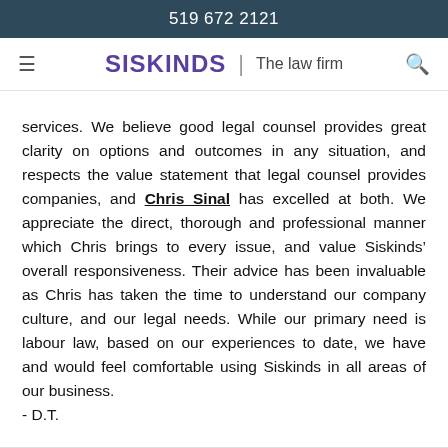519 672 2121
SISKINDS | The law firm
services. We believe good legal counsel provides great clarity on options and outcomes in any situation, and respects the value statement that legal counsel provides companies, and Chris Sinal has excelled at both. We appreciate the direct, thorough and professional manner which Chris brings to every issue, and value Siskinds’ overall responsiveness. Their advice has been invaluable as Chris has taken the time to understand our company culture, and our legal needs. While our primary need is labour law, based on our experiences to date, we have and would feel comfortable using Siskinds in all areas of our business.
- D.T.